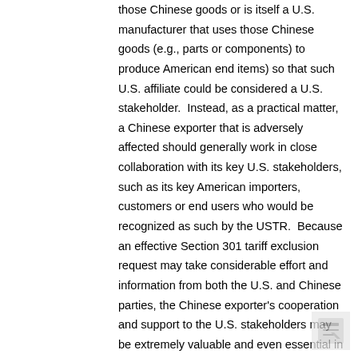those Chinese goods or is itself a U.S. manufacturer that uses those Chinese goods (e.g., parts or components) to produce American end items) so that such U.S. affiliate could be considered a U.S. stakeholder.  Instead, as a practical matter, a Chinese exporter that is adversely affected should generally work in close collaboration with its key U.S. stakeholders, such as its key American importers, customers or end users who would be recognized as such by the USTR.  Because an effective Section 301 tariff exclusion request may take considerable effort and information from both the U.S. and Chinese parties, the Chinese exporter's cooperation and support to the U.S. stakeholders may be extremely valuable and even essential in some cases.
Stated Criteria for Exclusion
The USTR has announced the criteria for granting such